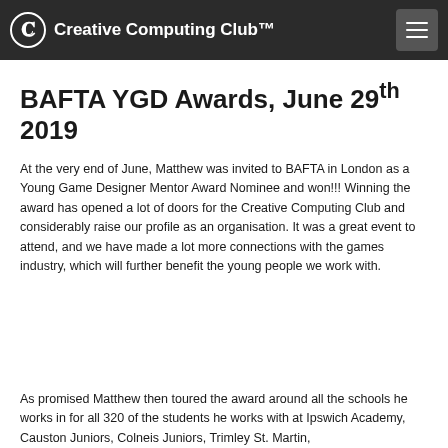Creative Computing Club™
BAFTA YGD Awards, June 29th 2019
At the very end of June, Matthew was invited to BAFTA in London as a Young Game Designer Mentor Award Nominee and won!!! Winning the award has opened a lot of doors for the Creative Computing Club and considerably raise our profile as an organisation. It was a great event to attend, and we have made a lot more connections with the games industry, which will further benefit the young people we work with.
As promised Matthew then toured the award around all the schools he works in for all 320 of the students he works with at Ipswich Academy, Causton Juniors, Colneis Juniors, Trimley St. Martin,